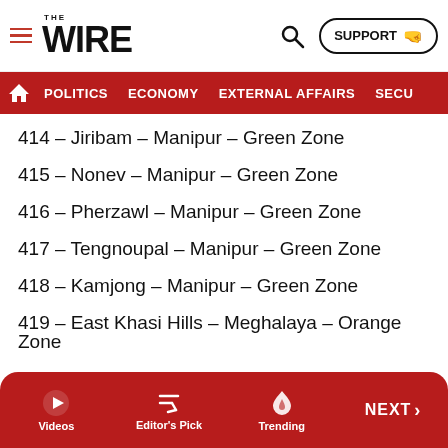THE WIRE — POLITICS | ECONOMY | EXTERNAL AFFAIRS | SECU...
414 – Jiribam – Manipur – Green Zone
415 – Nonev – Manipur – Green Zone
416 – Pherzawl – Manipur – Green Zone
417 – Tengnoupal – Manipur – Green Zone
418 – Kamjong – Manipur – Green Zone
419 – East Khasi Hills – Meghalaya – Orange Zone
420 – East Garo Hills – Meghalaya – Green Zone
421 – West Jaintia Hills – Meghalaya – Green Zone
422 – Ri Bhoi – Meghalaya – Green Zone
Videos | Editor's Pick | Trending | NEXT >